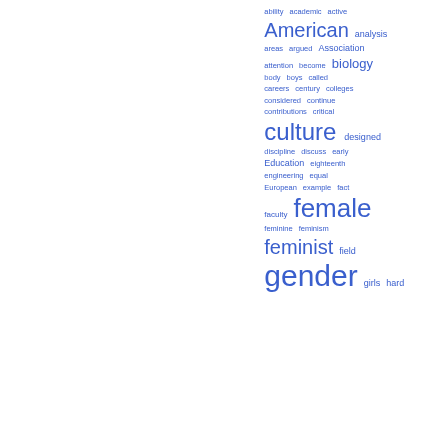[Figure (infographic): Word cloud (tag cloud) showing academic and gender-studies related terms in various sizes in blue color. Larger words include: gender, female, feminist, culture, American, biology. Smaller words include: ability, academic, active, analysis, areas, argued, Association, attention, become, body, boys, called, careers, century, colleges, considered, continue, contributions, critical, designed, discipline, discuss, early, Education, eighteenth, engineering, equal, European, example, fact, faculty, feminine, feminism, field, girls, hard.]